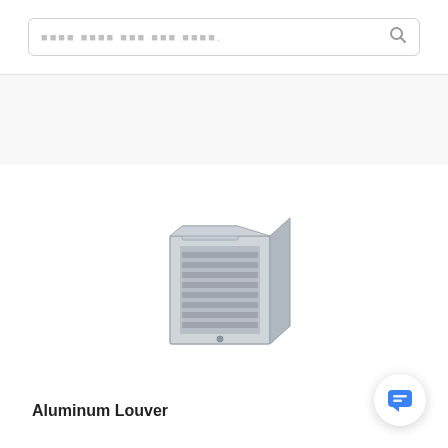Search bar placeholder (redacted characters)
[Figure (photo): Aluminum louver product photo — a metallic square aluminum louver with visible horizontal slats inside a rectangular frame, photographed at a slight angle.]
Aluminum Louver
[Figure (illustration): Chat/message button icon — a speech bubble icon in blue inside a white circle with shadow, positioned in the bottom right corner.]